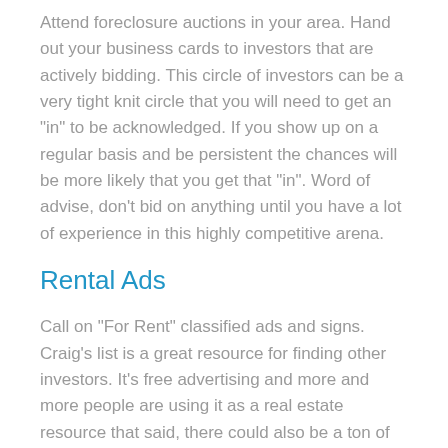Attend foreclosure auctions in your area. Hand out your business cards to investors that are actively bidding. This circle of investors can be a very tight knit circle that you will need to get an "in" to be acknowledged. If you show up on a regular basis and be persistent the chances will be more likely that you get that "in". Word of advise, don't bid on anything until you have a lot of experience in this highly competitive arena.
Rental Ads
Call on "For Rent" classified ads and signs. Craig's list is a great resource for finding other investors. It's free advertising and more and more people are using it as a real estate resource that said, there could also be a ton of crap to sift through.